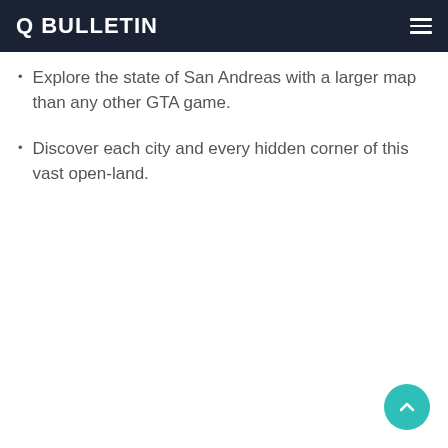Q BULLETIN
Explore the state of San Andreas with a larger map than any other GTA game.
Discover each city and every hidden corner of this vast open-land.